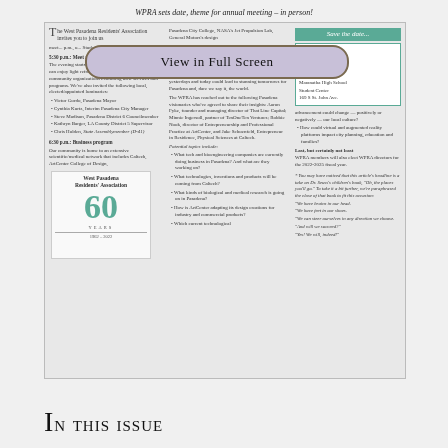WPRA sets date, theme for annual meeting – in person!
[Figure (screenshot): Newspaper article screenshot with overlay button 'View in Full Screen' over a West Pasadena Residents' Association newsletter page]
In This Issue